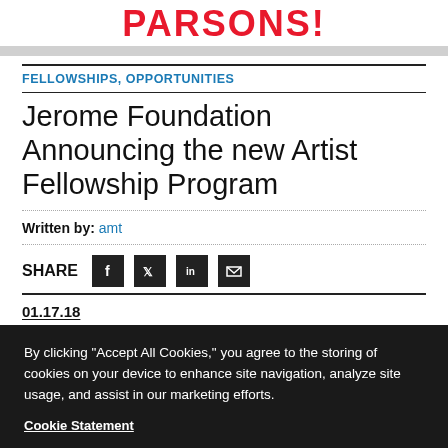PARSONS!
FELLOWSHIPS, OPPORTUNITIES
Jerome Foundation Announcing the new Artist Fellowship Program
Written by: amt
SHARE
01.17.18
The Jerome Foundation is pleased to announce the
By clicking “Accept All Cookies,” you agree to the storing of cookies on your device to enhance site navigation, analyze site usage, and assist in our marketing efforts.
Cookie Statement